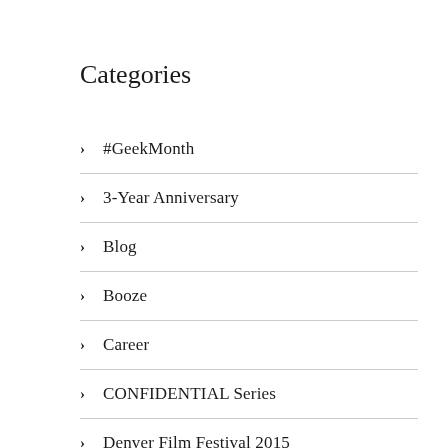Categories
#GeekMonth
3-Year Anniversary
Blog
Booze
Career
CONFIDENTIAL Series
Denver Film Festival 2015